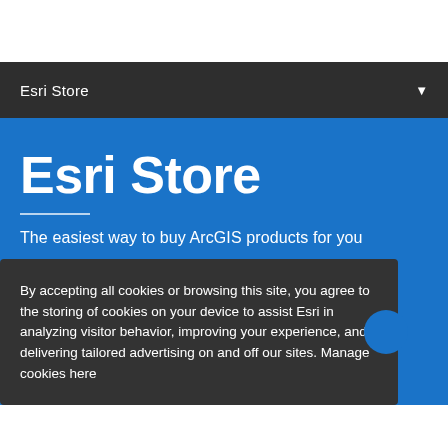Esri Store
Esri Store
The easiest way to buy ArcGIS products for you
By accepting all cookies or browsing this site, you agree to the storing of cookies on your device to assist Esri in analyzing visitor behavior, improving your experience, and delivering tailored advertising on and off our sites. Manage cookies here